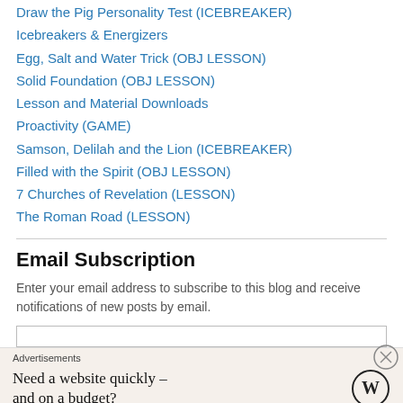Draw the Pig Personality Test (ICEBREAKER)
Icebreakers & Energizers
Egg, Salt and Water Trick (OBJ LESSON)
Solid Foundation (OBJ LESSON)
Lesson and Material Downloads
Proactivity (GAME)
Samson, Delilah and the Lion (ICEBREAKER)
Filled with the Spirit (OBJ LESSON)
7 Churches of Revelation (LESSON)
The Roman Road (LESSON)
Email Subscription
Enter your email address to subscribe to this blog and receive notifications of new posts by email.
Advertisements
Need a website quickly – and on a budget?